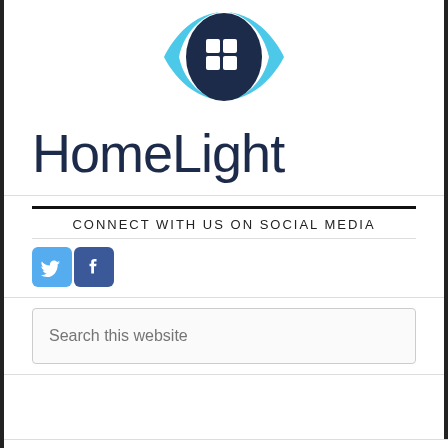[Figure (logo): HomeLight logo: dark navy shield/eye shape with white 4-square grid icon, with cyan/light blue wing shapes on either side, above the text 'HomeLight' in large dark navy light-weight font]
CONNECT WITH US ON SOCIAL MEDIA
[Figure (illustration): Two social media icon buttons: Twitter (blue bird icon on cyan background) and Facebook (f icon on dark blue background)]
Search this website